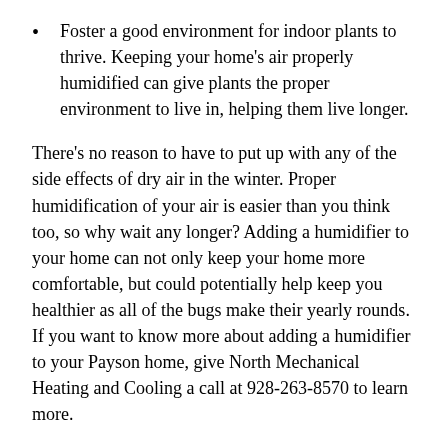Foster a good environment for indoor plants to thrive. Keeping your home's air properly humidified can give plants the proper environment to live in, helping them live longer.
There's no reason to have to put up with any of the side effects of dry air in the winter. Proper humidification of your air is easier than you think too, so why wait any longer? Adding a humidifier to your home can not only keep your home more comfortable, but could potentially help keep you healthier as all of the bugs make their yearly rounds. If you want to know more about adding a humidifier to your Payson home, give North Mechanical Heating and Cooling a call at 928-263-8570 to learn more.